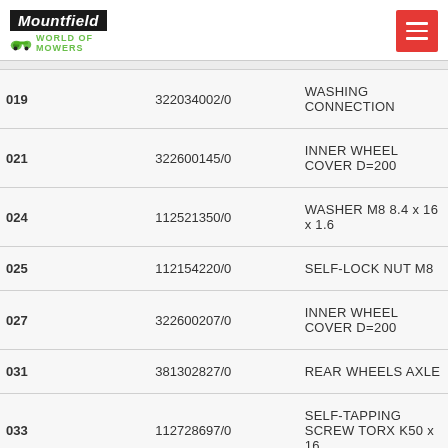[Figure (logo): Mountfield World of Mowers logo with hamburger menu button]
| Ref | Part No. | Description |
| --- | --- | --- |
| 019 | 322034002/0 | WASHING CONNECTION |
| 021 | 322600145/0 | INNER WHEEL COVER D=200 |
| 024 | 112521350/0 | WASHER M8 8.4 x 16 x 1.6 |
| 025 | 112154220/0 | SELF-LOCK NUT M8 |
| 027 | 322600207/0 | INNER WHEEL COVER D=200 |
| 031 | 381302827/0 | REAR WHEELS AXLE |
| 033 | 112728697/0 | SELF-TAPPING SCREW TORX K50 x 16 |